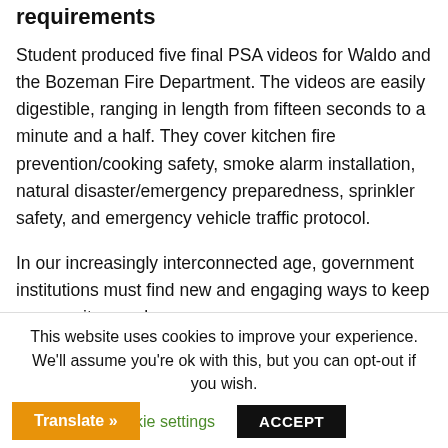requirements
Student produced five final PSA videos for Waldo and the Bozeman Fire Department. The videos are easily digestible, ranging in length from fifteen seconds to a minute and a half. They cover kitchen fire prevention/cooking safety, smoke alarm installation, natural disaster/emergency preparedness, sprinkler safety, and emergency vehicle traffic protocol.
In our increasingly interconnected age, government institutions must find new and engaging ways to keep community members
This website uses cookies to improve your experience. We'll assume you're ok with this, but you can opt-out if you wish.
Cookie settings
ACCEPT
Translate »